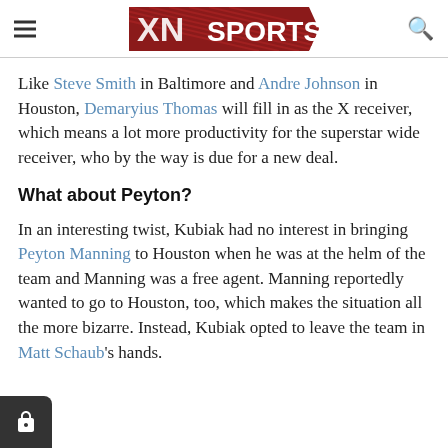XN SPORTS
Like Steve Smith in Baltimore and Andre Johnson in Houston, Demaryius Thomas will fill in as the X receiver, which means a lot more productivity for the superstar wide receiver, who by the way is due for a new deal.
What about Peyton?
In an interesting twist, Kubiak had no interest in bringing Peyton Manning to Houston when he was at the helm of the team and Manning was a free agent. Manning reportedly wanted to go to Houston, too, which makes the situation all the more bizarre. Instead, Kubiak opted to leave the team in Matt Schaub's hands.